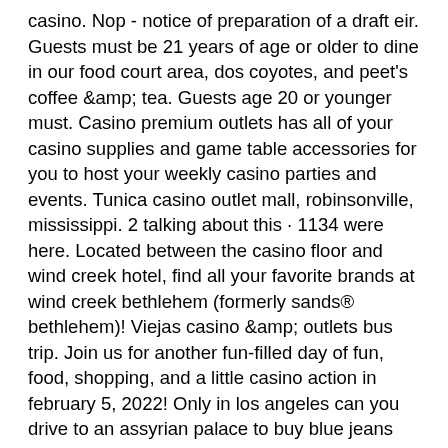casino. Nop - notice of preparation of a draft eir. Guests must be 21 years of age or older to dine in our food court area, dos coyotes, and peet's coffee &amp; tea. Guests age 20 or younger must. Casino premium outlets has all of your casino supplies and game table accessories for you to host your weekly casino parties and events. Tunica casino outlet mall, robinsonville, mississippi. 2 talking about this · 1134 were here. Located between the casino floor and wind creek hotel, find all your favorite brands at wind creek bethlehem (formerly sands® bethlehem)! Viejas casino &amp; outlets bus trip. Join us for another fun-filled day of fun, food, shopping, and a little casino action in february 5, 2022! Only in los angeles can you drive to an assyrian palace to buy blue jeans and leather goods the citadel outlets, los angeles only outlet center. Chelsea property is the world's largest owner, developer and operator of outlet that